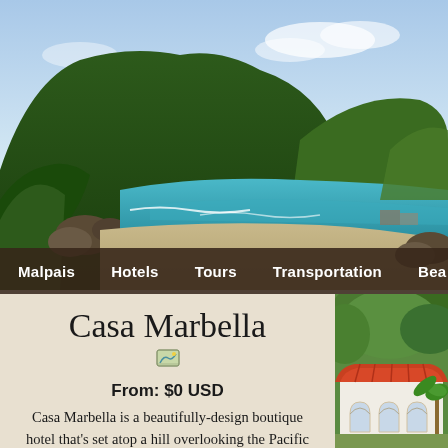[Figure (photo): Aerial/ground level view of a tropical beach with turquoise water, sandy shore, lush green forested hills in the background, and blue sky. Costa Rica landscape.]
Malpais   Hotels   Tours   Transportation   Bea...
Casa Marbella
From: $0 USD
Casa Marbella is a beautifully-design boutique hotel that's set atop a hill overlooking the Pacific Ocean. The hotel is small and intimate and has a variety of ...
[Figure (photo): Photo of Casa Marbella hotel building with distinctive red/orange terracotta tile roof, white walls with arched windows, surrounded by tropical green trees and palms.]